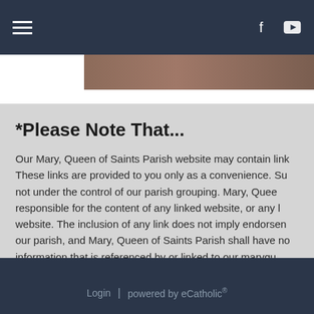Navigation bar with hamburger menu, Facebook and YouTube icons
[Figure (photo): Hero banner image strip, partially visible, showing a brownish/earthy toned photograph]
*Please Note That...
Our Mary, Queen of Saints Parish website may contain links. These links are provided to you only as a convenience. Such sites are not under the control of our parish grouping. Mary, Queen of Saints is not responsible for the content of any linked website, or any link contained in a linked website. The inclusion of any link does not imply endorsement by our parish, and Mary, Queen of Saints Parish shall have no liability for information that is referenced by or linked to our maryqu...
Login | powered by eCatholic®